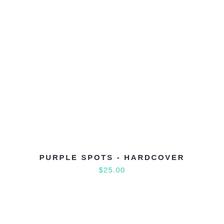PURPLE SPOTS - HARDCOVER
$25.00